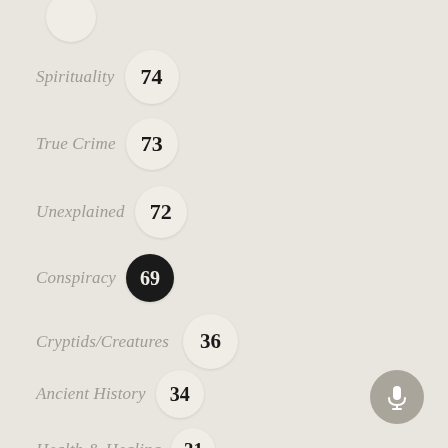Spirituality 74
True Crime 73
Unexplained 72
Conspiracy 69
Cryptids/Creatures 36
Ancient History 34
Health & Healing 31
Other 21
[Figure (illustration): Microphone icon button in bottom-right corner]